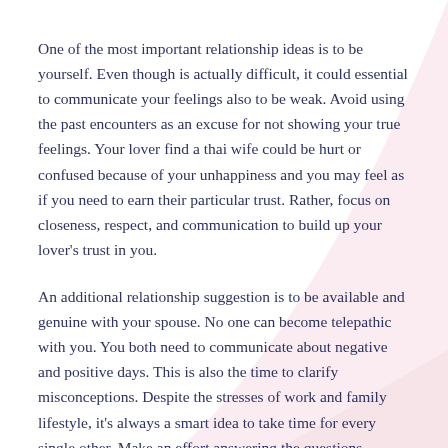One of the most important relationship ideas is to be yourself. Even though is actually difficult, it could essential to communicate your feelings also to be weak. Avoid using the past encounters as an excuse for not showing your true feelings. Your lover find a thai wife could be hurt or confused because of your unhappiness and you may feel as if you need to earn their particular trust. Rather, focus on closeness, respect, and communication to build up your lover's trust in you.
An additional relationship suggestion is to be available and genuine with your spouse. No one can become telepathic with you. You both need to communicate about negative and positive days. This is also the time to clarify misconceptions. Despite the stresses of work and family lifestyle, it's always a smart idea to take time for every single other. Make an effort answering the questions together and see what your partner perceives. Remember,